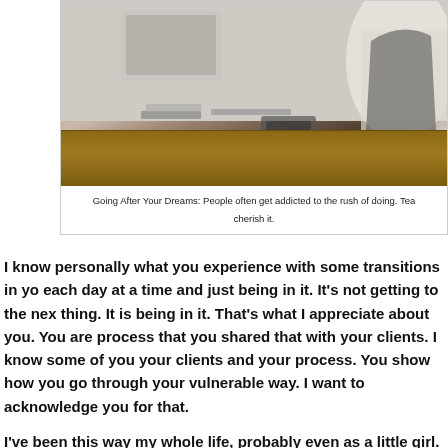[Figure (photo): A person sitting at a desk with a computer monitor, books, and a tablet or papers in an office setting, viewed from the side.]
Going After Your Dreams: People often get addicted to the rush of doing. Tea cherish it.
I know personally what you experience with some transitions in yo each day at a time and just being in it. It's not getting to the nex thing. It is being in it. That's what I appreciate about you. You are process that you shared that with your clients. I know some of you your clients and your process. You show how you go through your vulnerable way. I want to acknowledge you for that.
I've been this way my whole life, probably even as a little girl. It's